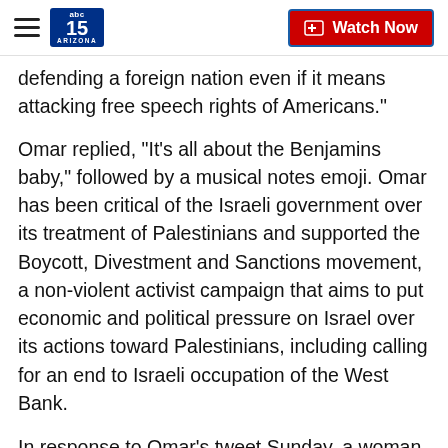abc15 ARIZONA — Watch Now
defending a foreign nation even if it means attacking free speech rights of Americans."
Omar replied, "It's all about the Benjamins baby," followed by a musical notes emoji. Omar has been critical of the Israeli government over its treatment of Palestinians and supported the Boycott, Divestment and Sanctions movement, a non-violent activist campaign that aims to put economic and political pressure on Israel over its actions toward Palestinians, including calling for an end to Israeli occupation of the West Bank.
In response to Omar's tweet Sunday, a woman named Batya Ungar-Sargon, an opinion editor of the Forward,